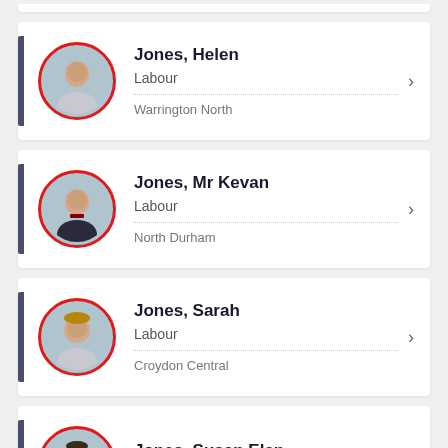Jones, Helen | Labour | Warrington North
Jones, Mr Kevan | Labour | North Durham
Jones, Sarah | Labour | Croydon Central
Jones, Susan Elan | Labour